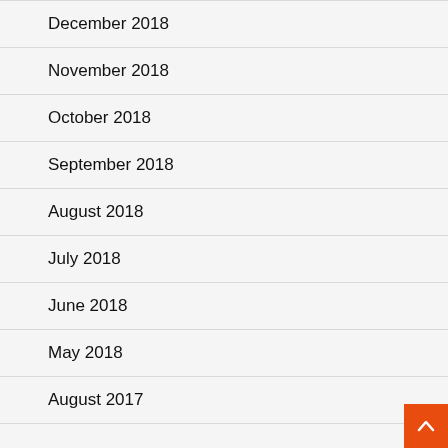December 2018
November 2018
October 2018
September 2018
August 2018
July 2018
June 2018
May 2018
August 2017